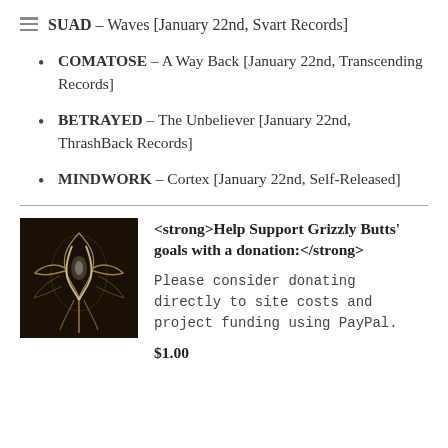SUAD – Waves [January 22nd, Svart Records]
COMATOSE – A Way Back [January 22nd, Transcending Records]
BETRAYED – The Unbeliever [January 22nd, ThrashBack Records]
MINDWORK – Cortex [January 22nd, Self-Released]
[Figure (illustration): Dark illustration of a glowing white figure/creature with flowing lines on a dark background]
<strong>Help Support Grizzly Butts' goals with a donation:</strong>

Please consider donating directly to site costs and project funding using PayPal.

$1.00